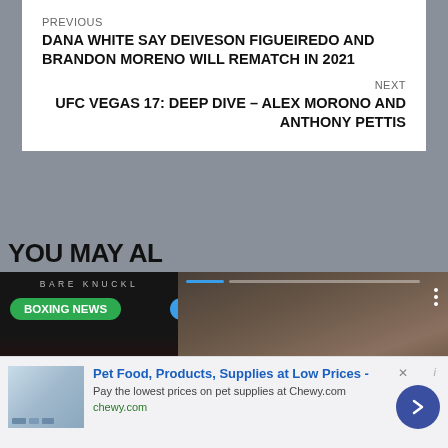PREVIOUS
DANA WHITE SAY DEIVESON FIGUEIREDO AND BRANDON MORENO WILL REMATCH IN 2021
NEXT
UFC VEGAS 17: DEEP DIVE – ALEX MORONO AND ANTHONY PETTIS
YOU MAY AL…
[Figure (photo): Left card: dark background with 'BARE KNUCKLE' text at top, green 'BOXING NEWS' badge, and a dimly lit face below. Right card: two boxers in a ring fight, tattooed fighter throwing punch, with progress bar overlay, three-dot menu, and blue arrow button.]
Pet Food, Products, Supplies at Low Prices -
Pay the lowest prices on pet supplies at Chewy.com
chewy.com